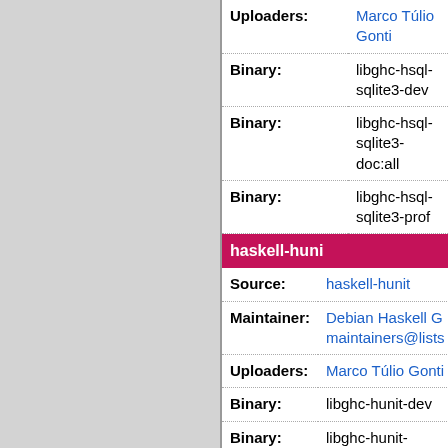| Field | Value |
| --- | --- |
| Uploaders: | Marco Túlio Gonti... |
| Binary: | libghc-hsql-sqlite3-dev |
| Binary: | libghc-hsql-sqlite3-doc:all |
| Binary: | libghc-hsql-sqlite3-prof |
haskell-huni...
| Field | Value |
| --- | --- |
| Source: | haskell-hunit |
| Maintainer: | Debian Haskell G... maintainers@lists... |
| Uploaders: | Marco Túlio Gonti... |
| Binary: | libghc-hunit-dev |
| Binary: | libghc-hunit-doc:all |
| Binary: | libghc-hunit-prof |